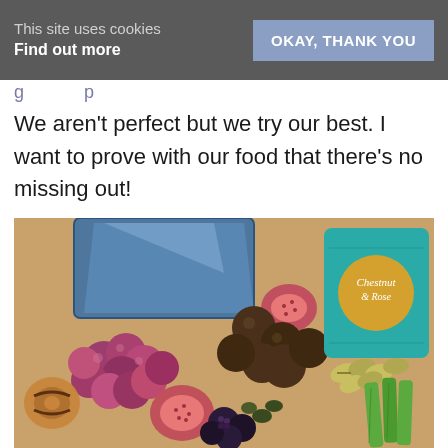This site uses cookies
Find out more
OKAY, THANK YOU
We aren't perfect but we try our best. I want to prove with our food that there's no missing out!
[Figure (photo): A grazing box / charcuterie board containing grapes, figs, blackberries, olives, pretzels, nuts (pistachios), celery sticks, round chocolate/falafel balls, and a blue plastic container with wrap, alongside a teal 'Chestnut & Rose' branded card.]